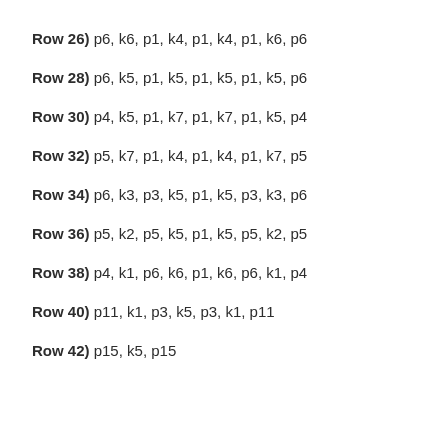Row 26) p6, k6, p1, k4, p1, k4, p1, k6, p6
Row 28) p6, k5, p1, k5, p1, k5, p1, k5, p6
Row 30) p4, k5, p1, k7, p1, k7, p1, k5, p4
Row 32) p5, k7, p1, k4, p1, k4, p1, k7, p5
Row 34) p6, k3, p3, k5, p1, k5, p3, k3, p6
Row 36) p5, k2, p5, k5, p1, k5, p5, k2, p5
Row 38) p4, k1, p6, k6, p1, k6, p6, k1, p4
Row 40) p11, k1, p3, k5, p3, k1, p11
Row 42) p15, k5, p15